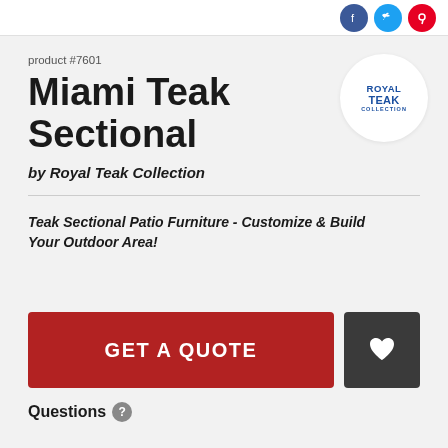product #7601
Miami Teak Sectional
by Royal Teak Collection
[Figure (logo): Royal Teak Collection circular brand logo with blue text on white background]
Teak Sectional Patio Furniture - Customize & Build Your Outdoor Area!
GET A QUOTE
Questions